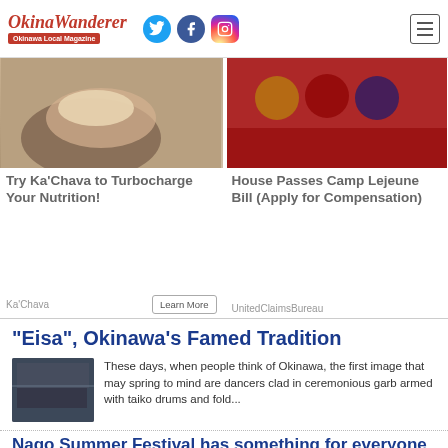Okinawa Wanderer – Okinawa Local Magazine
[Figure (screenshot): Ad card: hand holding a food bowl – Ka'Chava nutrition ad]
Try Ka'Chava to Turbocharge Your Nutrition!
Ka'Chava
[Figure (screenshot): Ad card: red military memorial wall – Camp Lejeune Bill ad]
House Passes Camp Lejeune Bill (Apply for Compensation)
UnitedClaimsBureau
“Eisa”, Okinawa’s Famed Tradition
[Figure (photo): Thumbnail photo of Eisa dancers in ceremonious garb]
These days, when people think of Okinawa, the first image that may spring to mind are dancers clad in ceremonious garb armed with taiko drums and fold...
Nago Summer Festival has something for everyone